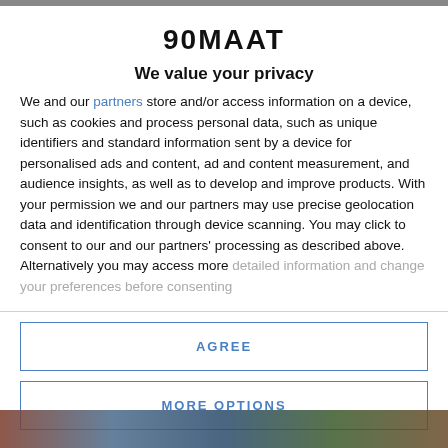90MAAT
We value your privacy
We and our partners store and/or access information on a device, such as cookies and process personal data, such as unique identifiers and standard information sent by a device for personalised ads and content, ad and content measurement, and audience insights, as well as to develop and improve products. With your permission we and our partners may use precise geolocation data and identification through device scanning. You may click to consent to our and our partners' processing as described above. Alternatively you may access more detailed information and change your preferences before consenting
AGREE
MORE OPTIONS
[Figure (photo): Colorful photo strip at the bottom of the page]